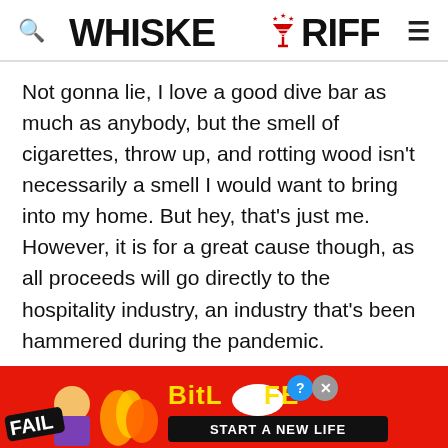WHISKEY RIFF
Not gonna lie, I love a good dive bar as much as anybody, but the smell of cigarettes, throw up, and rotting wood isn't necessarily a smell I would want to bring into my home. But hey, that's just me. However, it is for a great cause though, as all proceeds will go directly to the hospitality industry, an industry that's been hammered during the pandemic.
[Figure (photo): BitLife advertisement banner with 'FAIL' text, cartoon character, flames, and 'START A NEW LIFE' call to action on a red background]